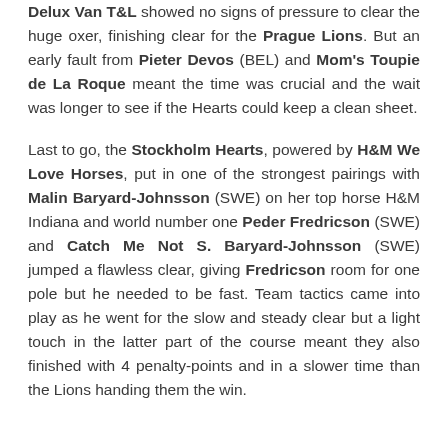Delux Van T&L showed no signs of pressure to clear the huge oxer, finishing clear for the Prague Lions. But an early fault from Pieter Devos (BEL) and Mom's Toupie de La Roque meant the time was crucial and the wait was longer to see if the Hearts could keep a clean sheet.
Last to go, the Stockholm Hearts, powered by H&M We Love Horses, put in one of the strongest pairings with Malin Baryard-Johnsson (SWE) on her top horse H&M Indiana and world number one Peder Fredricson (SWE) and Catch Me Not S. Baryard-Johnsson (SWE) jumped a flawless clear, giving Fredricson room for one pole but he needed to be fast. Team tactics came into play as he went for the slow and steady clear but a light touch in the latter part of the course meant they also finished with 4 penalty-points and in a slower time than the Lions handing them the win.